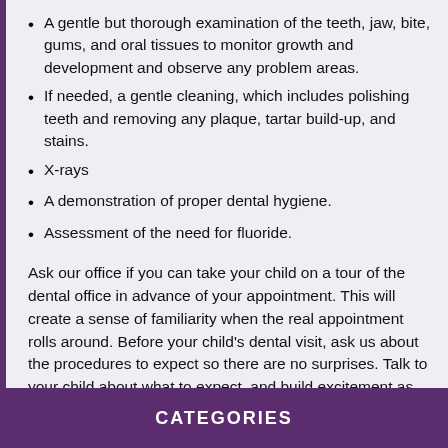A gentle but thorough examination of the teeth, jaw, bite, gums, and oral tissues to monitor growth and development and observe any problem areas.
If needed, a gentle cleaning, which includes polishing teeth and removing any plaque, tartar build-up, and stains.
X-rays
A demonstration of proper dental hygiene.
Assessment of the need for fluoride.
Ask our office if you can take your child on a tour of the dental office in advance of your appointment. This will create a sense of familiarity when the real appointment rolls around. Before your child's dental visit, ask us about the procedures to expect so there are no surprises. Talk to your child about what to expect, and build excitement as well as understanding about the upcoming visit. Bring with you to the appointment any records of your child's complete medical history.
CATEGORIES